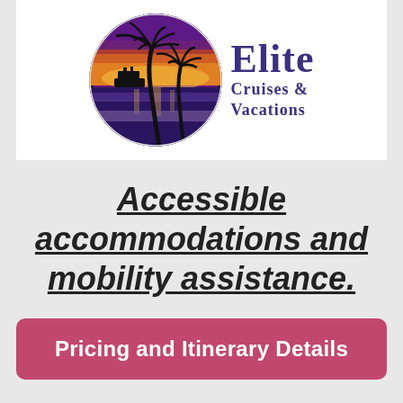[Figure (logo): Elite Cruises & Vacations logo: circular image of a tropical sunset beach scene with palm trees silhouettes and a cruise ship, next to bold serif text reading ELITE CRUISES & VACATIONS in dark purple.]
Accessible accommodations and mobility assistance.
Pricing and Itinerary Details